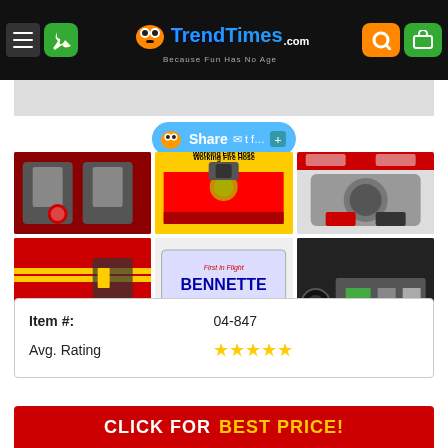[Figure (screenshot): TrendTimes.com website header with navigation, logo, search and cart buttons on dark background]
[Figure (screenshot): Social share button bar with email, Twitter, Facebook share options and plus button]
[Figure (photo): Grid of 6 product detail photos showing fire truck toy: interior seats with helmet, working fire hose compartment, steering wheel dashboard, side with yellow stripe, custom BENNETTE North Carolina license plate, and undercarriage battery compartment]
| Item #: | 04-847 |
| Avg. Rating | ★★★★★ |
[Figure (screenshot): Red call-to-action button reading CLICK FOR BEST PRICE!]